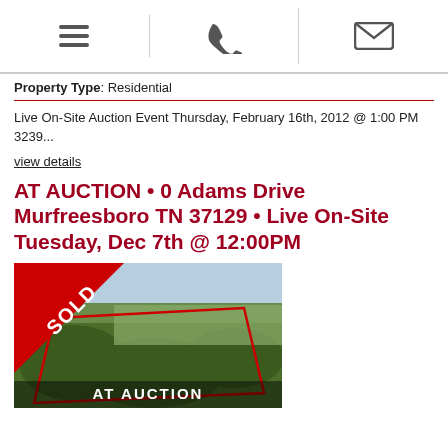[hamburger menu icon] [phone icon] [email icon]
Property Type: Residential
Live On-Site Auction Event Thursday, February 16th, 2012 @ 1:00 PM 3239...
view details
AT AUCTION • 0 Adams Drive Murfreesboro TN 37129 • Live On-Site Tuesday, Dec 7th @ 12:00PM
[Figure (photo): Aerial photo of a land parcel marked with a red boundary outline. A red ribbon banner in the top-left corner reads 'SOLD'. Text at the bottom of the image reads 'AT AUCTION'.]